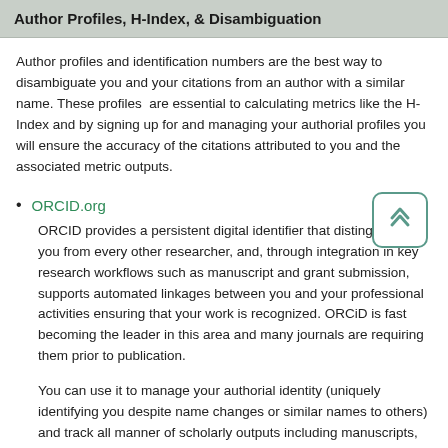Author Profiles, H-Index, & Disambiguation
Author profiles and identification numbers are the best way to disambiguate you and your citations from an author with a similar name. These profiles  are essential to calculating metrics like the H-Index and by signing up for and managing your authorial profiles you will ensure the accuracy of the citations attributed to you and the associated metric outputs.
ORCID.org
ORCID provides a persistent digital identifier that distinguishes you from every other researcher, and, through integration in key research workflows such as manuscript and grant submission, supports automated linkages between you and your professional activities ensuring that your work is recognized. ORCiD is fast becoming the leader in this area and many journals are requiring them prior to publication.

You can use it to manage your authorial identity (uniquely identifying you despite name changes or similar names to others) and track all manner of scholarly outputs including manuscripts, posters, paper presentations, policy papers and more. The variety of scholarly outputs